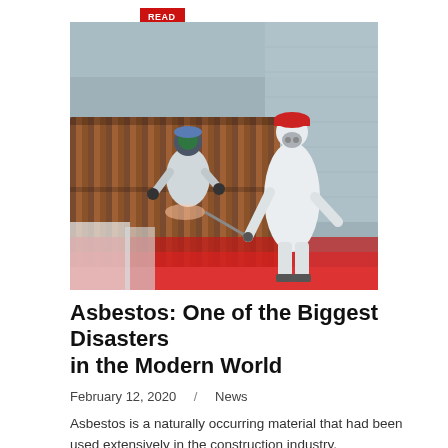READ MORE
[Figure (photo): Two workers in protective white hazmat suits and respirator masks handling corrugated asbestos roofing sheets. One worker wears a red hard hat, the other a blue hard hat. They are spraying or treating the sheets, which rest on red plastic sheeting. The background shows a weathered concrete wall and a corrugated metal roof.]
Asbestos: One of the Biggest Disasters in the Modern World
February 12, 2020  /  News
Asbestos is a naturally occurring material that had been used extensively in the construction industry,